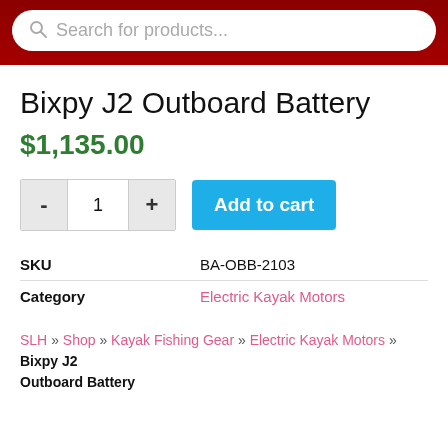Search for products...
Bixpy J2 Outboard Battery
$1,135.00
- 1 + Add to cart
| Field | Value |
| --- | --- |
| SKU | BA-OBB-2103 |
| Category | Electric Kayak Motors |
SLH » Shop » Kayak Fishing Gear » Electric Kayak Motors » Bixpy J2 Outboard Battery